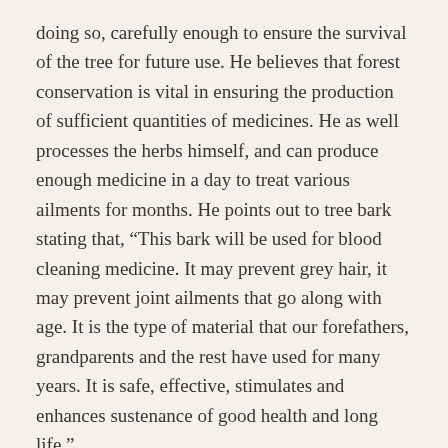doing so, carefully enough to ensure the survival of the tree for future use. He believes that forest conservation is vital in ensuring the production of sufficient quantities of medicines. He as well processes the herbs himself, and can produce enough medicine in a day to treat various ailments for months. He points out to tree bark stating that, “This bark will be used for blood cleaning medicine. It may prevent grey hair, it may prevent joint ailments that go along with age. It is the type of material that our forefathers, grandparents and the rest have used for many years. It is safe, effective, stimulates and enhances sustenance of good health and long life.”
His very first clinic at Kinangop resulted in a spread of about 12 clinics all over Kenya; many patients come to him by word-of-mouth when they hear about him from patients who have been treated successfully. Githae, a